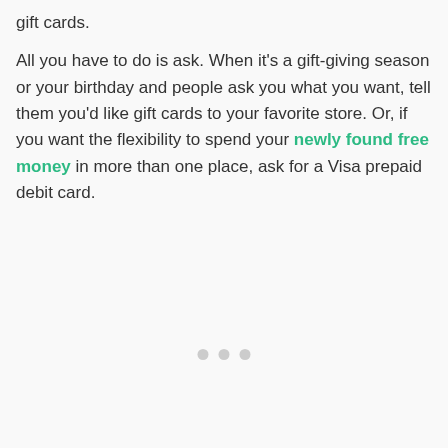gift cards. All you have to do is ask. When it's a gift-giving season or your birthday and people ask you what you want, tell them you'd like gift cards to your favorite store. Or, if you want the flexibility to spend your newly found free money in more than one place, ask for a Visa prepaid debit card.